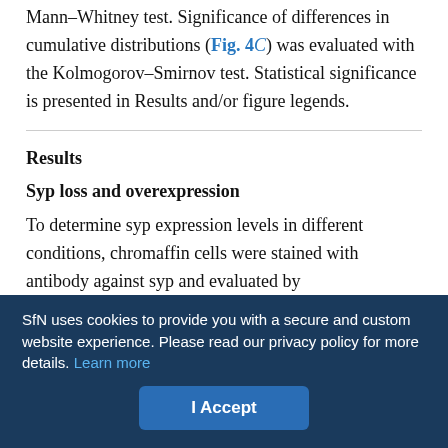Mann–Whitney test. Significance of differences in cumulative distributions (Fig. 4C) was evaluated with the Kolmogorov–Smirnov test. Statistical significance is presented in Results and/or figure legends.
Results
Syp loss and overexpression
To determine syp expression levels in different conditions, chromaffin cells were stained with antibody against syp and evaluated by immunocytochemistry. Strong immunofluorescence indicated that WT chromaffin cells express syp (Fig. 1A, second row). The distribution of syp immunostaining was spatially distinct from the
SfN uses cookies to provide you with a secure and custom website experience. Please read our privacy policy for more details. Learn more